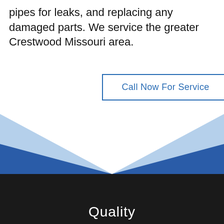pipes for leaks, and replacing any damaged parts. We service the greater Crestwood Missouri area.
Call Now For Service
[Figure (illustration): Decorative geometric design with light blue and dark blue triangular shapes forming a bowtie/hourglass pattern over a dark black background section]
Quality